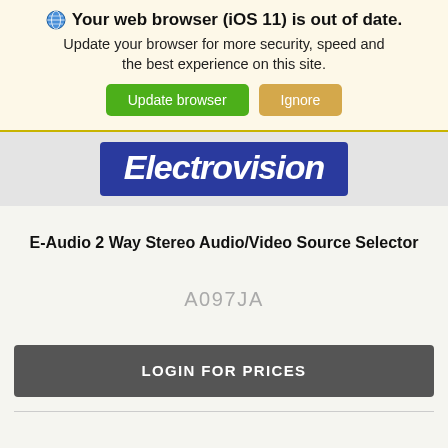Your web browser (iOS 11) is out of date. Update your browser for more security, speed and the best experience on this site. Update browser | Ignore
[Figure (logo): Electrovision company logo — white italic bold text on dark blue rounded rectangle background]
E-Audio 2 Way Stereo Audio/Video Source Selector
A097JA
LOGIN FOR PRICES